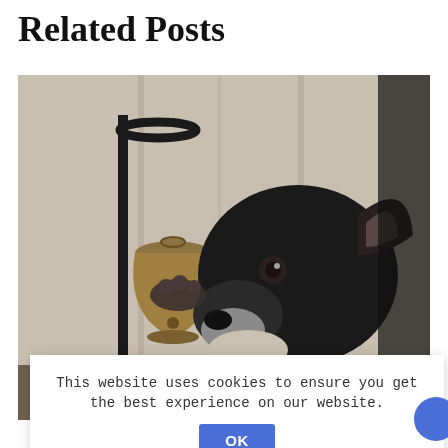Related Posts
[Figure (photo): A black dog using its paw to ring a brass bell mounted on a decorative black metal stand, positioned in front of a light-colored wood-paneled wall.]
This website uses cookies to ensure you get the best experience on our website. OK